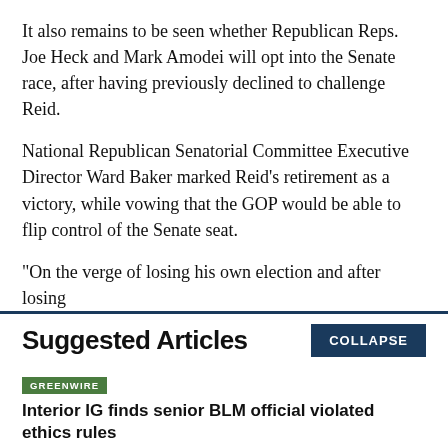It also remains to be seen whether Republican Reps. Joe Heck and Mark Amodei will opt into the Senate race, after having previously declined to challenge Reid.
National Republican Senatorial Committee Executive Director Ward Baker marked Reid’s retirement as a victory, while vowing that the GOP would be able to flip control of the Senate seat.
"On the verge of losing his own election and after losing
Suggested Articles
Interior IG finds senior BLM official violated ethics rules
Biden admin eyes funding Canadian mining